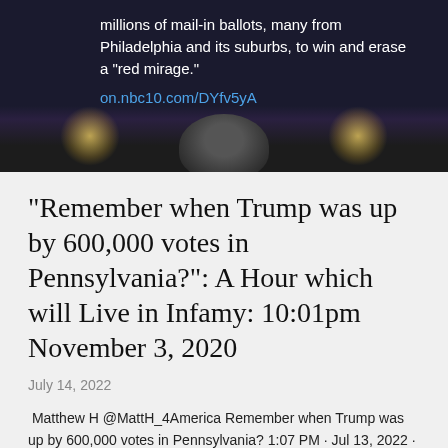[Figure (screenshot): Screenshot of a tweet/social media post with dark background showing text about mail-in ballots in Philadelphia and suburbs and a 'red mirage', with a link on.nbc10.com/DYfv5yA, and a photo strip showing a person's head silhouette against stage lights]
"Remember when Trump was up by 600,000 votes in Pennsylvania?": A Hour which will Live in Infamy: 10:01pm November 3, 2020
July 14, 2022
Matthew H @MattH_4America Remember when Trump was up by 600,000 votes in Pennsylvania? 1:07 PM · Jul 13, 2022 · Twitter Web App
[https://twitter.com/MattH_4America/status/154731187726...